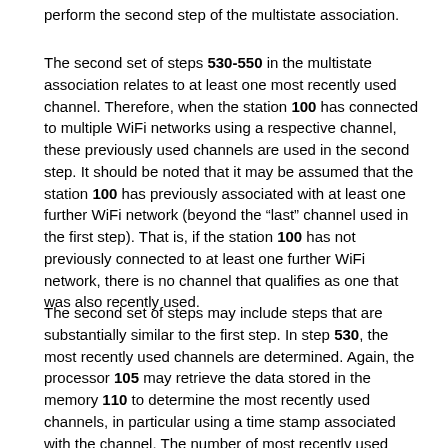perform the second step of the multistate association.
The second set of steps 530-550 in the multistate association relates to at least one most recently used channel. Therefore, when the station 100 has connected to multiple WiFi networks using a respective channel, these previously used channels are used in the second step. It should be noted that it may be assumed that the station 100 has previously associated with at least one further WiFi network (beyond the “last” channel used in the first step). That is, if the station 100 has not previously connected to at least one further WiFi network, there is no channel that qualifies as one that was also recently used.
The second set of steps may include steps that are substantially similar to the first step. In step 530, the most recently used channels are determined. Again, the processor 105 may retrieve the data stored in the memory 110 to determine the most recently used channels, in particular using a time stamp associated with the channel. The number of most recently used channels may be predetermined using a variety of factors. For example, the last four (4) channels that were most recently used